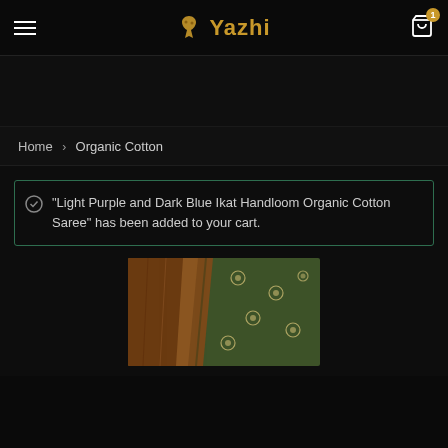Yazhi
Home > Organic Cotton
“Light Purple and Dark Blue Ikat Handloom Organic Cotton Saree” has been added to your cart.
[Figure (photo): Close-up photo of folded fabric sarees in olive green and brown/copper tones with circular embroidery or print motifs]